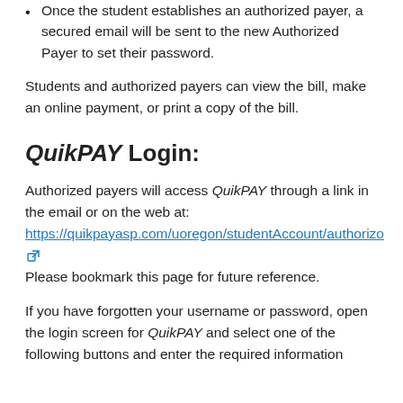Once the student establishes an authorized payer, a secured email will be sent to the new Authorized Payer to set their password.
Students and authorized payers can view the bill, make an online payment, or print a copy of the bill.
QuikPAY Login:
Authorized payers will access QuikPAY through a link in the email or on the web at: https://quikpayasp.com/uoregon/studentAccount/authorizo
Please bookmark this page for future reference.
If you have forgotten your username or password, open the login screen for QuikPAY and select one of the following buttons and enter the required information